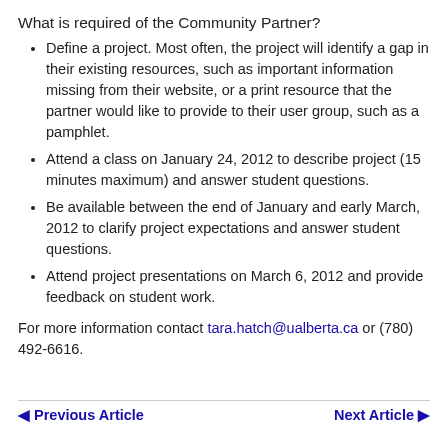What is required of the Community Partner?
Define a project. Most often, the project will identify a gap in their existing resources, such as important information missing from their website, or a print resource that the partner would like to provide to their user group, such as a pamphlet.
Attend a class on January 24, 2012 to describe project (15 minutes maximum) and answer student questions.
Be available between the end of January and early March, 2012 to clarify project expectations and answer student questions.
Attend project presentations on March 6, 2012 and provide feedback on student work.
For more information contact tara.hatch@ualberta.ca or (780) 492-6616.
◄ Previous Article    Next Article ►